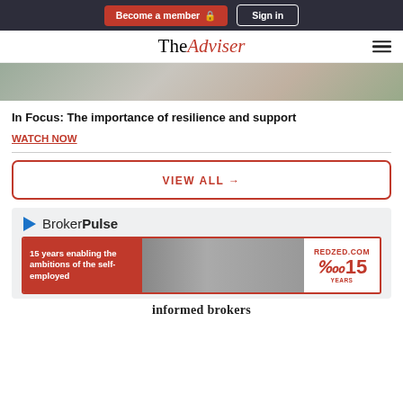Become a member  Sign in
The Adviser
[Figure (photo): Partial hero image showing people, cropped at top]
In Focus: The importance of resilience and support
WATCH NOW
[Figure (other): VIEW ALL button with arrow]
[Figure (infographic): BrokerPulse logo and RedZed.com advertisement banner reading '15 years enabling the ambitions of the self-employed' with group photo and REDZED.COM 15 YEARS branding]
informed brokers